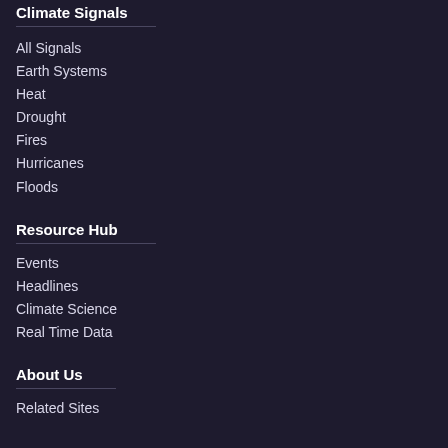Climate Signals
All Signals
Earth Systems
Heat
Drought
Fires
Hurricanes
Floods
Resource Hub
Events
Headlines
Climate Science
Real Time Data
About Us
Related Sites